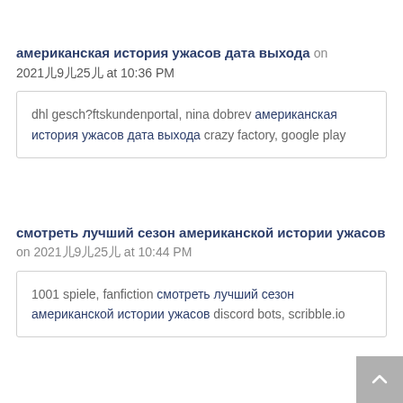американская история ужасов дата выхода on 2021年9月25日 at 10:36 PM
dhl gesch?ftskundenportal, nina dobrev американская история ужасов дата выхода crazy factory, google play
смотреть лучший сезон американской истории ужасов on 2021年9月25日 at 10:44 PM
1001 spiele, fanfiction смотреть лучший сезон американской истории ужасов discord bots, scribble.io